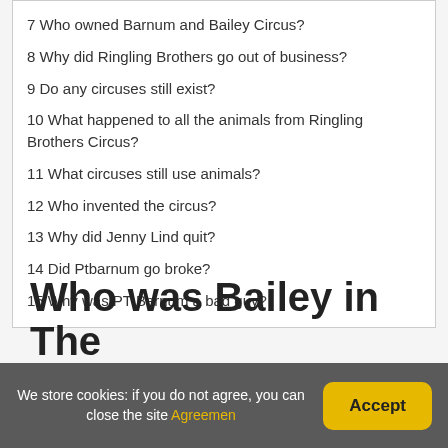7 Who owned Barnum and Bailey Circus?
8 Why did Ringling Brothers go out of business?
9 Do any circuses still exist?
10 What happened to all the animals from Ringling Brothers Circus?
11 What circuses still use animals?
12 Who invented the circus?
13 Why did Jenny Lind quit?
14 Did Ptbarnum go broke?
15 Why was PT Barnum a bad guy?
Who was Bailey in The
We store cookies: if you do not agree, you can close the site Agreemen